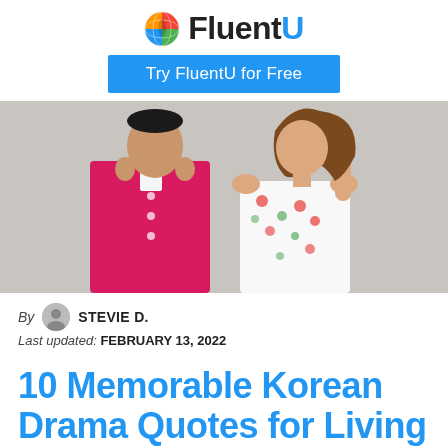[Figure (logo): FluentU logo: colorful globe icon and bold FluentU text]
Try FluentU for Free
[Figure (photo): Two Korean drama actors posing — a man in a bright pink blazer covering his ears and a woman in a floral dress brushing her hair, against a light gray background]
By STEVIE D.
Last updated: FEBRUARY 13, 2022
10 Memorable Korean Drama Quotes for Living